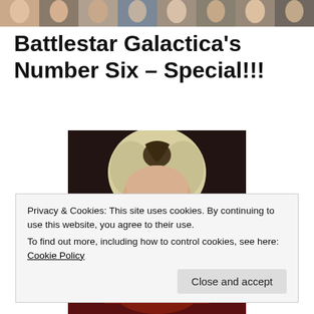[Figure (photo): Strip of celebrity/character headshots at top of page]
Battlestar Galactica's Number Six – Special!!!
[Figure (photo): Close-up photo of Number Six character from Battlestar Galactica, blonde hair, glowing red eyes]
Privacy & Cookies: This site uses cookies. By continuing to use this website, you agree to their use.
To find out more, including how to control cookies, see here: Cookie Policy
Close and accept
[Figure (photo): Partial bottom image of character, cropped]